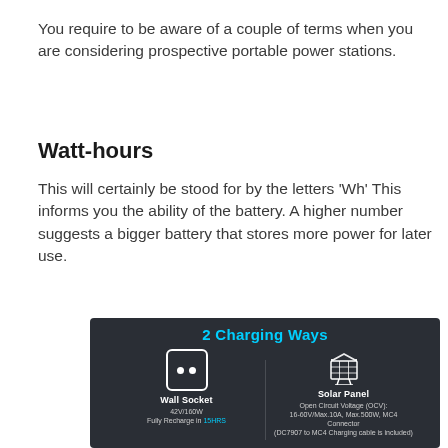You require to be aware of a couple of terms when you are considering prospective portable power stations.
Watt-hours
This will certainly be stood for by the letters ‘Wh’ This informs you the ability of the battery. A higher number suggests a bigger battery that stores more power for later use.
[Figure (infographic): Infographic showing '2 Charging Ways' with dark background. Left side shows Wall Socket icon (outlet symbol in white square): 42V/160W, Fully Recharge in 15HRS. Right side shows Solar Panel icon (panel symbol): Open Circuit Voltage (OCV): 16-60V/Max.10A, Max.500W, MC4 Connector (DC7907 to MC4 Charging cable is included).]